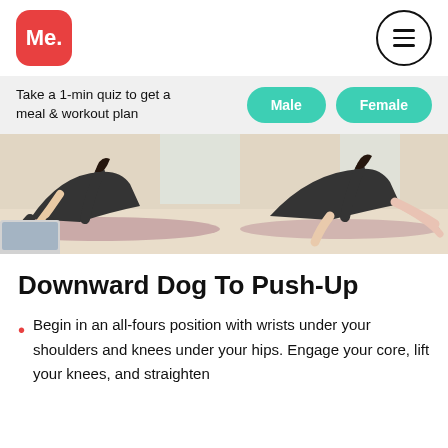Me.
Take a 1-min quiz to get a meal & workout plan
Male   Female
[Figure (photo): Two women in yoga/downward dog positions on exercise mats on a light wooden floor, with a laptop in the foreground]
Downward Dog To Push-Up
Begin in an all-fours position with wrists under your shoulders and knees under your hips. Engage your core, lift your knees, and straighten